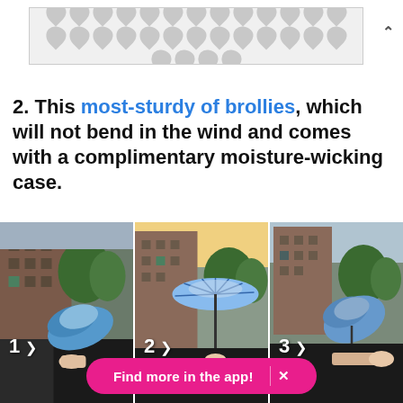[Figure (other): Advertisement banner with grey map pin / dot pattern on light grey background]
2. This most-sturdy of brollies, which will not bend in the wind and comes with a complimentary moisture-wicking case.
[Figure (photo): Three-panel photo collage numbered 1, 2, 3 showing a blue umbrella being opened from a car: panel 1 shows folded umbrella, panel 2 shows umbrella open, panel 3 shows umbrella being closed again. Urban background with buildings and trees.]
Find more in the app!  ×